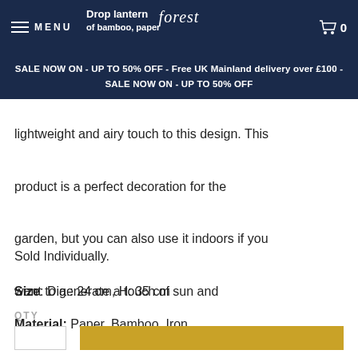MENU | forest | Drop lantern | of bamboo, paper | 0
SALE NOW ON - UP TO 50% OFF - Free UK Mainland delivery over £100 - SALE NOW ON - UP TO 50% OFF
lightweight and airy touch to this design. This product is a perfect decoration for the garden, but you can also use it indoors if you want to generate a touch of sun and summer.
Sold Individually.
Size: Dia.: 24 cm, H: 35 cm
Material: Paper, Bamboo, Iron
QTY